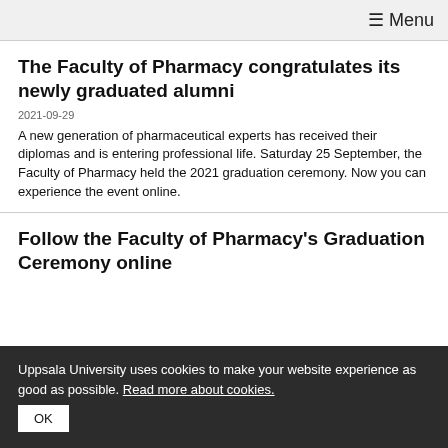≡ Menu
The Faculty of Pharmacy congratulates its newly graduated alumni
2021-09-29
A new generation of pharmaceutical experts has received their diplomas and is entering professional life. Saturday 25 September, the Faculty of Pharmacy held the 2021 graduation ceremony. Now you can experience the event online.
Follow the Faculty of Pharmacy's Graduation Ceremony online
Uppsala University uses cookies to make your website experience as good as possible. Read more about cookies.